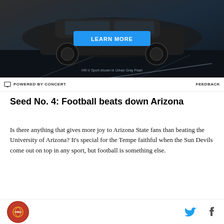[Figure (photo): Advertisement showing a dark-colored Honda HR-V Sport SUV on a road with a blue 'LEARN MORE' button and text 'HR-V Sport shown in Urban Gray Pearl']
⬛ POWERED BY CONCERT    FEEDBACK
Seed No. 4: Football beats down Arizona
Is there anything that gives more joy to Arizona State fans than beating the University of Arizona? It's special for the Tempe faithful when the Sun Devils come out on top in any sport, but football is something else.
On Nov. 30, not only did the Sun Devils beat the...